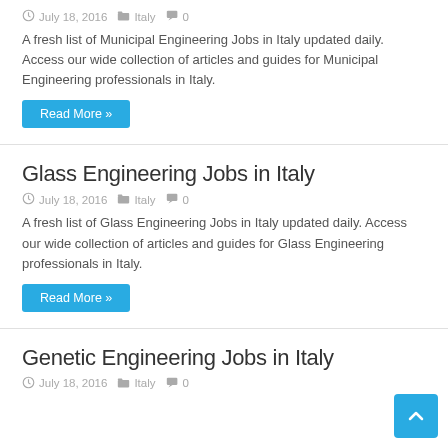July 18, 2016  Italy  0
A fresh list of Municipal Engineering Jobs in Italy updated daily. Access our wide collection of articles and guides for Municipal Engineering professionals in Italy.
Read More »
Glass Engineering Jobs in Italy
July 18, 2016  Italy  0
A fresh list of Glass Engineering Jobs in Italy updated daily. Access our wide collection of articles and guides for Glass Engineering professionals in Italy.
Read More »
Genetic Engineering Jobs in Italy
July 18, 2016  Italy  0